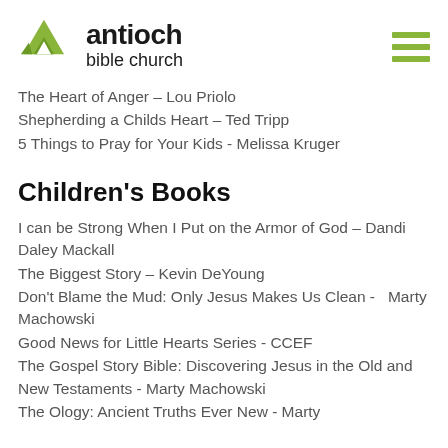[Figure (logo): Antioch Bible Church logo with green triangle icon and text]
The Heart of Anger – Lou Priolo
Shepherding a Childs Heart – Ted Tripp
5 Things to Pray for Your Kids - Melissa Kruger
Children's Books
I can be Strong When I Put on the Armor of God – Dandi Daley Mackall
The Biggest Story – Kevin DeYoung
Don't Blame the Mud: Only Jesus Makes Us Clean - Marty Machowski
Good News for Little Hearts Series - CCEF
The Gospel Story Bible: Discovering Jesus in the Old and New Testaments - Marty Machowski
The Ology: Ancient Truths Ever New - Marty